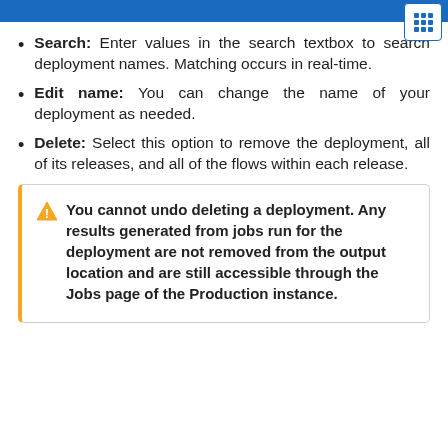Search: Enter values in the search textbox to search deployment names. Matching occurs in real-time.
Edit name: You can change the name of your deployment as needed.
Delete: Select this option to remove the deployment, all of its releases, and all of the flows within each release.
You cannot undo deleting a deployment. Any results generated from jobs run for the deployment are not removed from the output location and are still accessible through the Jobs page of the Production instance.